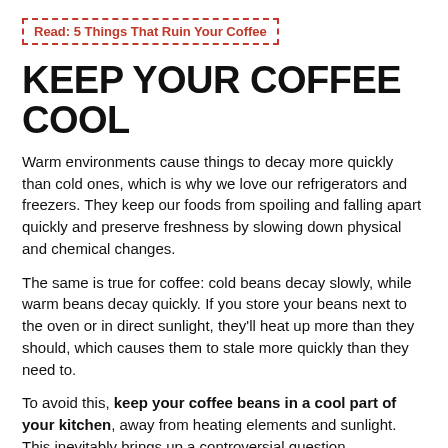Read: 5 Things That Ruin Your Coffee
KEEP YOUR COFFEE COOL
Warm environments cause things to decay more quickly than cold ones, which is why we love our refrigerators and freezers. They keep our foods from spoiling and falling apart quickly and preserve freshness by slowing down physical and chemical changes.
The same is true for coffee: cold beans decay slowly, while warm beans decay quickly. If you store your beans next to the oven or in direct sunlight, they'll heat up more than they should, which causes them to stale more quickly than they need to.
To avoid this, keep your coffee beans in a cool part of your kitchen, away from heating elements and sunlight. This inevitably brings up a controversial question.
SHOULD I KEEP MY COFFEE IN THE